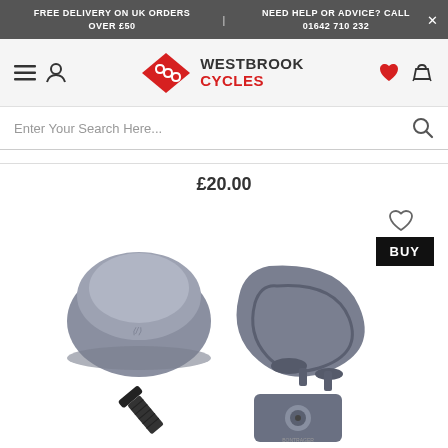FREE DELIVERY ON UK ORDERS OVER £50 | NEED HELP OR ADVICE? CALL 01642 710 232 ×
[Figure (logo): Westbrook Cycles logo with red diamond/chain icon and navigation icons (hamburger menu, user, heart, basket)]
Enter Your Search Here...
£20.00
[Figure (photo): Bicycle parts: a grey dome-shaped cap cover, a grey ring/clamp component, a black bolt/screw, and a grey square plate with a circular hole, along with a BUY button and heart/wishlist icon]